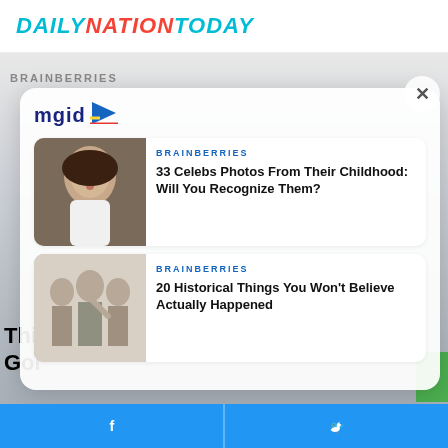DAILYNATIONTODAY
BRAINBERRIES
[Figure (screenshot): MGID sponsored content widget with two article cards: (1) 33 Celebs Photos From Their Childhood: Will You Recognize Them? with photo of child, (2) 20 Historical Things You Won't Believe Actually Happened with vintage group photo. Both labeled BRAINBERRIES.]
Thi Goi
Facebook share button | Twitter share button